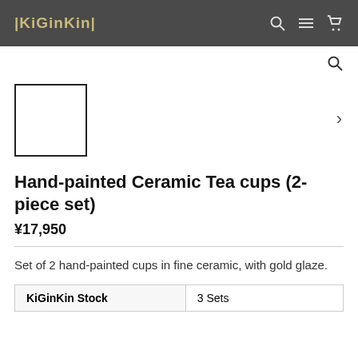|KiGinKin|
[Figure (other): Product thumbnail image placeholder — empty white square with black border]
Hand-painted Ceramic Tea cups (2-piece set)
¥17,950
Set of 2 hand-painted cups in fine ceramic, with gold glaze.
| KiGinKin Stock | 3 Sets |
| --- | --- |
| KiGinKin Stock | 3 Sets |